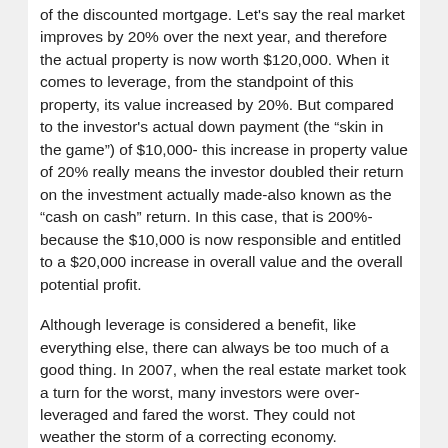of the discounted mortgage. Let's say the real market improves by 20% over the next year, and therefore the actual property is now worth $120,000. When it comes to leverage, from the standpoint of this property, its value increased by 20%. But compared to the investor's actual down payment (the “skin in the game”) of $10,000- this increase in property value of 20% really means the investor doubled their return on the investment actually made-also known as the “cash on cash” return. In this case, that is 200%-because the $10,000 is now responsible and entitled to a $20,000 increase in overall value and the overall potential profit.
Although leverage is considered a benefit, like everything else, there can always be too much of a good thing. In 2007, when the real estate market took a turn for the worst, many investors were over-leveraged and fared the worst. They could not weather the storm of a correcting economy. Exercising caution with every investment made will help to ensure that you can purchase, retain, pay-off debt, and grow your wealth from the investment decisions made as opposed to